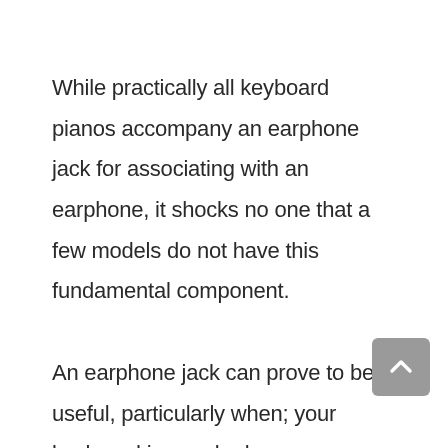While practically all keyboard pianos accompany an earphone jack for associating with an earphone, it shocks no one that a few models do not have this fundamental component.

An earphone jack can prove to be useful, particularly when; your keyboard is speakerless, your keyboard has low-quality speakers that produce horrendous sounds, you need some private practice time or you don't need the sound originating from your instrument to upset others.